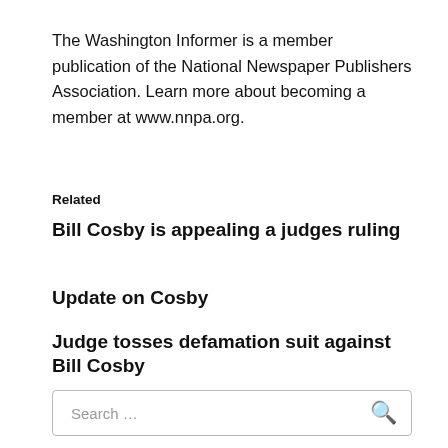The Washington Informer is a member publication of the National Newspaper Publishers Association. Learn more about becoming a member at www.nnpa.org.
Related
Bill Cosby is appealing a judges ruling
Update on Cosby
Judge tosses defamation suit against Bill Cosby